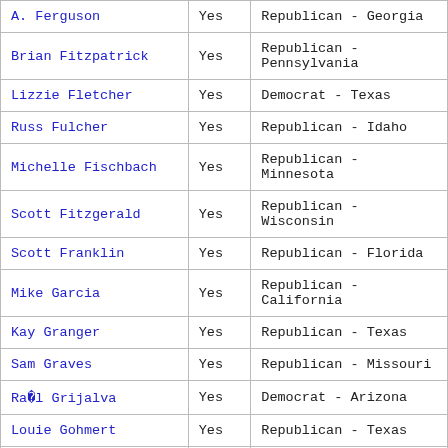| Name | Vote | Party - State |
| --- | --- | --- |
| A. Ferguson | Yes | Republican - Georgia |
| Brian Fitzpatrick | Yes | Republican - Pennsylvania |
| Lizzie Fletcher | Yes | Democrat - Texas |
| Russ Fulcher | Yes | Republican - Idaho |
| Michelle Fischbach | Yes | Republican - Minnesota |
| Scott Fitzgerald | Yes | Republican - Wisconsin |
| Scott Franklin | Yes | Republican - Florida |
| Mike Garcia | Yes | Republican - California |
| Kay Granger | Yes | Republican - Texas |
| Sam Graves | Yes | Republican - Missouri |
| Raúl Grijalva | Yes | Democrat - Arizona |
| Louie Gohmert | Yes | Republican - Texas |
| Al Green | Yes | Democrat - Texas |
| Brett Guthrie | Yes | Republican - Kentucky |